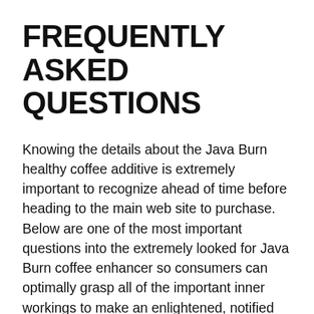FREQUENTLY ASKED QUESTIONS
Knowing the details about the Java Burn healthy coffee additive is extremely important to recognize ahead of time before heading to the main web site to purchase. Below are one of the most important questions into the extremely looked for Java Burn coffee enhancer so consumers can optimally grasp all of the important inner workings to make an enlightened, notified purchasing choice after reading every one of the introduction listed below.
What functions does Java